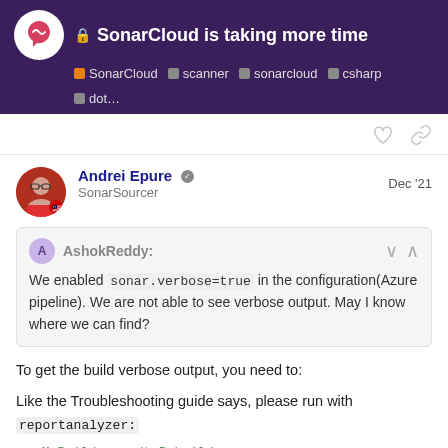SonarCloud is taking more time — SonarCloud | scanner | sonarcloud | csharp | dot...
Andrei Epure  SonarSourcer  Dec '21
AshokReddy: We enabled sonar.verbose=true in the configuration(Azure pipeline). We are not able to see verbose output. May I know where we can find?
To get the build verbose output, you need to:
Like the Troubleshooting guide says, please run with reportanalyzer:
MsBuild.exe /t:Rebuild /p:reportanalyzer=true /vid
5 / 23